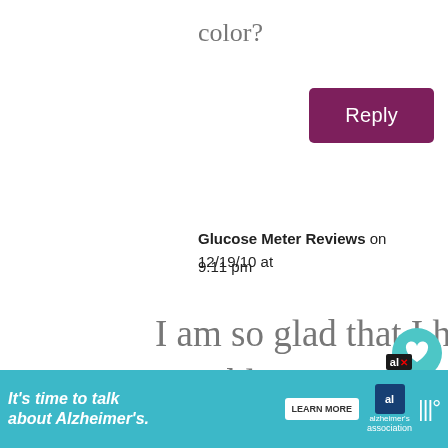color?
Reply
Glucose Meter Reviews on 12/19/10 at 9:11 pm
I am so glad that I had the chance to stumble upon your site – this recipe looks outstanding and judging from your great pictures, it is. I am definitely going this a shot very soon. Thanks for
[Figure (screenshot): Social share buttons: heart icon with count 661, share icon]
[Figure (screenshot): What's Next panel with Coconut Rice Recipe thumbnail]
[Figure (screenshot): Advertisement banner: It's time to talk about Alzheimer's. with Learn More button and Alzheimer's Association logo]